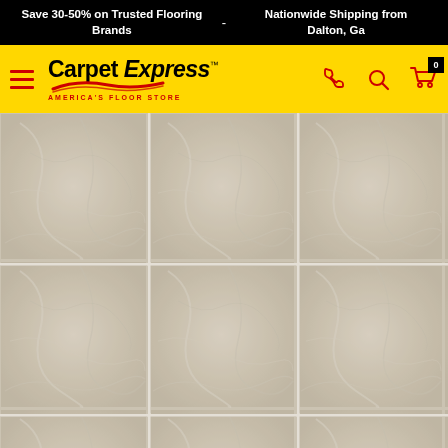Save 30-50% on Trusted Flooring Brands  -  Nationwide Shipping from Dalton, Ga
[Figure (logo): Carpet Express logo with hamburger menu icon on yellow background navigation bar, with phone, search, and cart icons]
[Figure (photo): Close-up product photo of beige/cream marble-look tile flooring with grout lines, showing a 2x2 grid tile pattern with slight texture and veining]